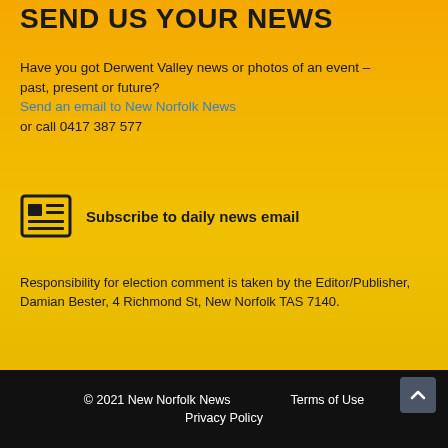SEND US YOUR NEWS
Have you got Derwent Valley news or photos of an event – past, present or future?
Send an email to New Norfolk News
or call 0417 387 577
Subscribe to daily news email
Responsibility for election comment is taken by the Editor/Publisher, Damian Bester, 4 Richmond St, New Norfolk TAS 7140.
© 2021 New Norfolk News    Terms of Use    Privacy Policy